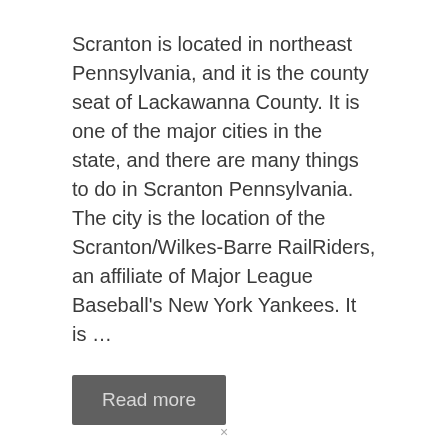Scranton is located in northeast Pennsylvania, and it is the county seat of Lackawanna County. It is one of the major cities in the state, and there are many things to do in Scranton Pennsylvania. The city is the location of the Scranton/Wilkes-Barre RailRiders, an affiliate of Major League Baseball’s New York Yankees. It is …
Read more
Pennsylvania
Scranton